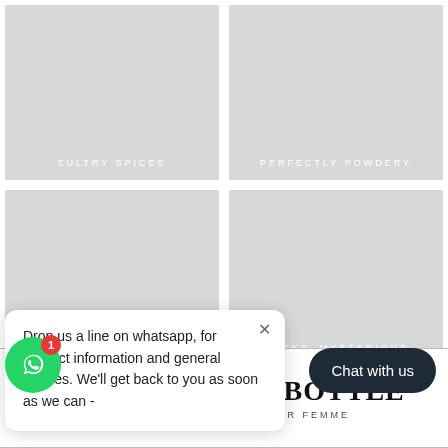[Figure (other): 2x2 grid of grey image placeholder tiles labeled SULTRY SPICES, PERFECTLY POWDERY, (unlabeled), and MUSKY MYSTERIOUS]
Drop us a line on whatsapp, for product information and general queries. We'll get back to you as soon as we can -
Chat with us
ELEGANCE IN A BOTTLE
VERSACE DYLAN BLUE POUR FEMME